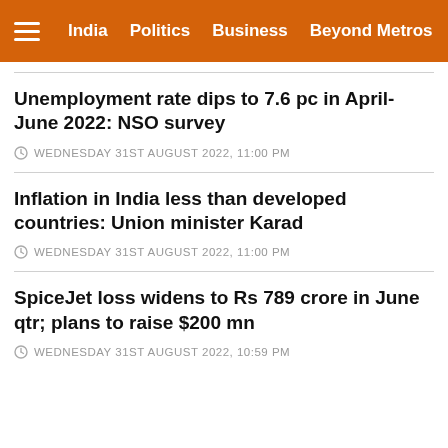India  Politics  Business  Beyond Metros
Unemployment rate dips to 7.6 pc in April-June 2022: NSO survey
WEDNESDAY 31ST AUGUST 2022, 11:00 PM
Inflation in India less than developed countries: Union minister Karad
WEDNESDAY 31ST AUGUST 2022, 11:00 PM
SpiceJet loss widens to Rs 789 crore in June qtr; plans to raise $200 mn
WEDNESDAY 31ST AUGUST 2022, 10:59 PM